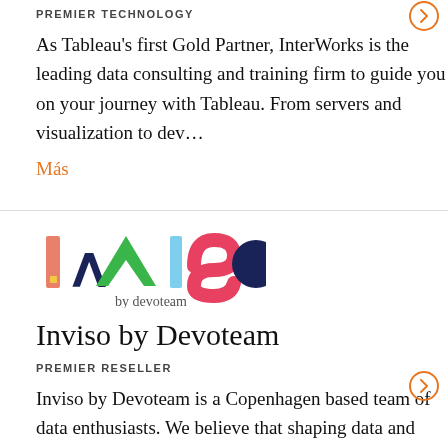PREMIER TECHNOLOGY
As Tableau's first Gold Partner, InterWorks is the leading data consulting and training firm to guide you on your journey with Tableau. From servers and visualization to dev…
Más
[Figure (logo): INVISO by devoteam logo with colorful geometric shapes]
Inviso by Devoteam
PREMIER RESELLER
Inviso by Devoteam is a Copenhagen based team of data enthusiasts. We believe that shaping data and using visual tools can bring important findings into the spotlight…